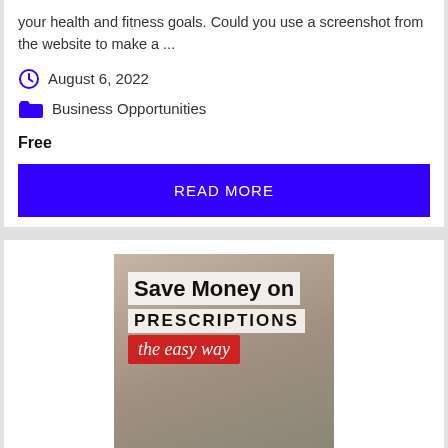your health and fitness goals. Could you use a screenshot from the website to make a ...
August 6, 2022
Business Opportunities
Free
READ MORE
[Figure (illustration): Promotional image: 'Save Money on PRESCRIPTIONS the easy way' with a person holding a phone, text overlaid on a photo background.]